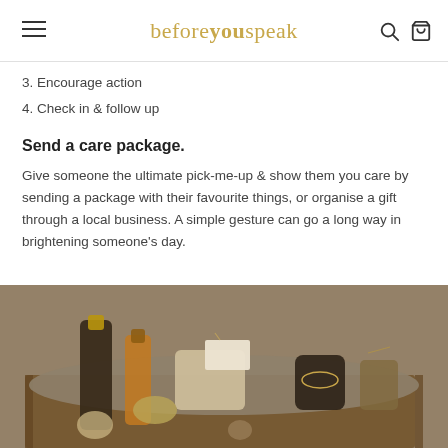beforeyouspeak
3. Encourage action
4. Check in & follow up
Send a care package.
Give someone the ultimate pick-me-up & show them you care by sending a package with their favourite things, or organise a gift through a local business. A simple gesture can go a long way in brightening someone’s day.
[Figure (photo): A wooden crate filled with various wrapped jars, bottles, and goods arranged on grey linen fabric, suggesting a rustic care package or gift basket.]